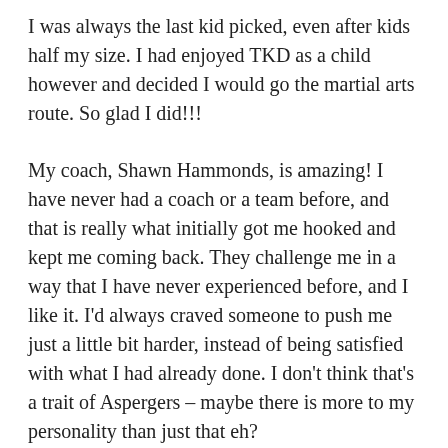I was always the last kid picked, even after kids half my size. I had enjoyed TKD as a child however and decided I would go the martial arts route. So glad I did!!!
My coach, Shawn Hammonds, is amazing! I have never had a coach or a team before, and that is really what initially got me hooked and kept me coming back. They challenge me in a way that I have never experienced before, and I like it. I'd always craved someone to push me just a little bit harder, instead of being satisfied with what I had already done. I don't think that's a trait of Aspergers – maybe there is more to my personality than just that eh?
One of my favorite things, is that I'm allowed to have